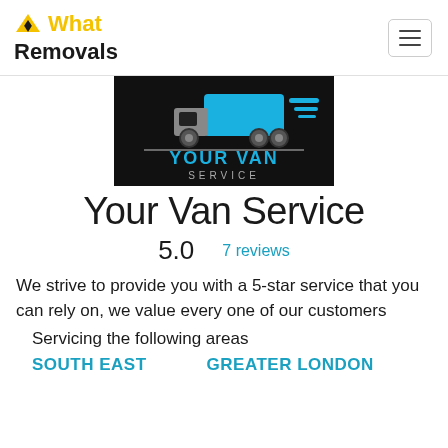What Removals
[Figure (logo): Your Van Service logo: black background with a blue moving truck graphic and text 'YOUR VAN SERVICE' in blue and gray letters]
Your Van Service
5.0   7 reviews
We strive to provide you with a 5-star service that you can rely on, we value every one of our customers
Servicing the following areas
SOUTH EAST   GREATER LONDON